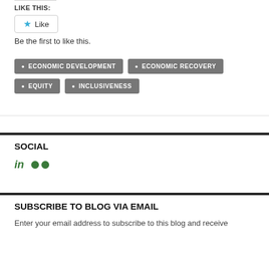LIKE THIS:
[Figure (other): Like button with star icon]
Be the first to like this.
ECONOMIC DEVELOPMENT
ECONOMIC RECOVERY
EQUITY
INCLUSIVENESS
SOCIAL
[Figure (other): LinkedIn and Flickr social media icons]
SUBSCRIBE TO BLOG VIA EMAIL
Enter your email address to subscribe to this blog and receive